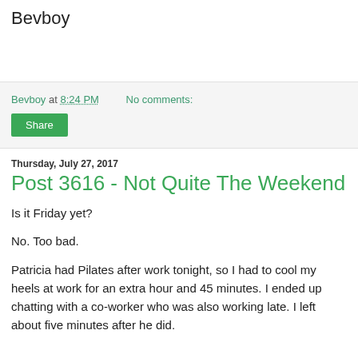Bevboy
Bevboy at 8:24 PM   No comments:
Share
Thursday, July 27, 2017
Post 3616 - Not Quite The Weekend
Is it Friday yet?
No. Too bad.
Patricia had Pilates after work tonight, so I had to cool my heels at work for an extra hour and 45 minutes. I ended up chatting with a co-worker who was also working late. I left about five minutes after he did.